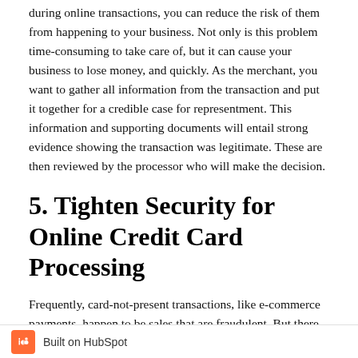during online transactions, you can reduce the risk of them from happening to your business. Not only is this problem time-consuming to take care of, but it can cause your business to lose money, and quickly. As the merchant, you want to gather all information from the transaction and put it together for a credible case for representment. This information and supporting documents will entail strong evidence showing the transaction was legitimate. These are then reviewed by the processor who will make the decision.
5. Tighten Security for Online Credit Card Processing
Frequently, card-not-present transactions, like e-commerce payments, happen to be sales that are fraudulent. But there is a successful way to prevent this from occurring, which is to instill restrictions such as Address Verification System (AVS) and Card Verification
Built on HubSpot